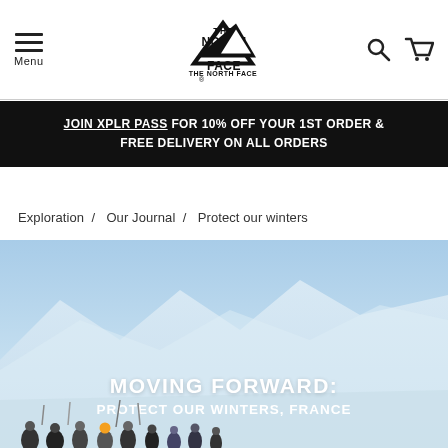The North Face — Menu, Logo, Search, Cart
JOIN XPLR PASS FOR 10% OFF YOUR 1ST ORDER & FREE DELIVERY ON ALL ORDERS
Exploration / Our Journal / Protect our winters
[Figure (photo): Skiers on a snowy mountain slope under a bright blue sky, with text overlay 'MOVING FORWARD: PROTECT OUR WINTERS, FRANCE' and a crowd of skiers at the bottom]
MOVING FORWARD: PROTECT OUR WINTERS, FRANCE